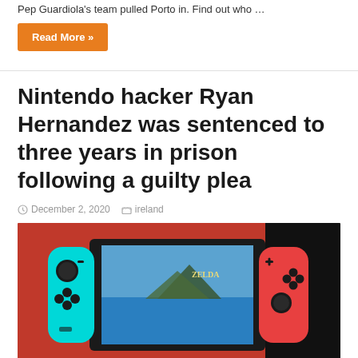Pep Guardiola's team pulled Porto in. Find out who …
Read More »
Nintendo hacker Ryan Hernandez was sentenced to three years in prison following a guilty plea
December 2, 2020   ireland
[Figure (photo): Photo of a Nintendo Switch gaming console with cyan and red Joy-Con controllers, displaying The Legend of Zelda: Breath of the Wild on the screen, placed against a bright red background with a black area on the right side.]
[ad_1] Ryan Hernandez, the hacker who pled guilty to stealing information about the Nintendo Switch before being released, has been sentenced to three years in prison. The sentencing follows a